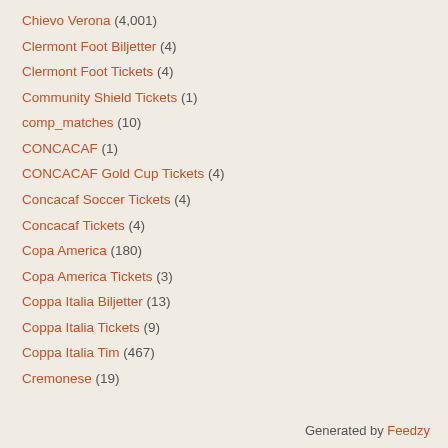Chievo Verona (4,001)
Clermont Foot Biljetter (4)
Clermont Foot Tickets (4)
Community Shield Tickets (1)
comp_matches (10)
CONCACAF (1)
CONCACAF Gold Cup Tickets (4)
Concacaf Soccer Tickets (4)
Concacaf Tickets (4)
Copa America (180)
Copa America Tickets (3)
Coppa Italia Biljetter (13)
Coppa Italia Tickets (9)
Coppa Italia Tim (467)
Cremonese (19)
Generated by Feedzy